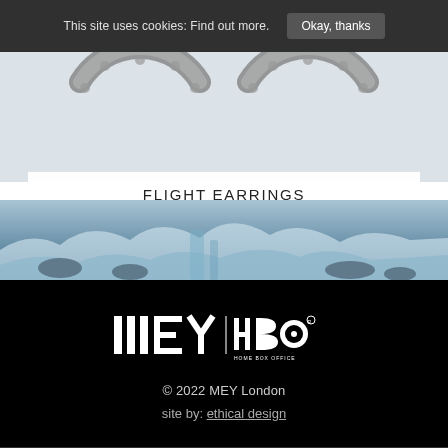This site uses cookies: Find out more.
Okay, thanks
[Figure (photo): Flight earrings jewelry product photo — arc-shaped silver earrings on white background]
FLIGHT EARRINGS
$300.00
[Figure (photo): Winter landscape background with snowy rocks and icy blue waterfall]
[Figure (logo): MEY London logo (vertical bars and E/Y letterforms in white) combined with HBO Home Box Office logo in white, on black background]
© 2022 MEY London
site by: ethical design